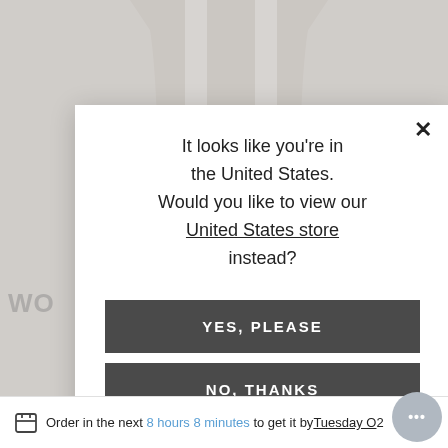[Figure (screenshot): E-commerce product page showing a light beige/cream women's garment in the background, partially obscured by a modal dialog]
It looks like you're in the United States. Would you like to view our United States store instead?
YES, PLEASE
NO, THANKS
WO RT -
Order in the next 8 hours 8 minutes to get it by Tuesday O 2